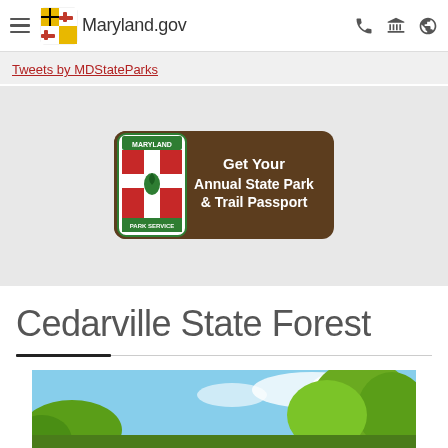Maryland.gov
Tweets by MDStateParks
[Figure (logo): Maryland Park Service badge with 'Get Your Annual State Park & Trail Passport' text on brown background]
Cedarville State Forest
[Figure (photo): Partial view of a forest/landscape scene with trees and blue sky — Cedarville State Forest]